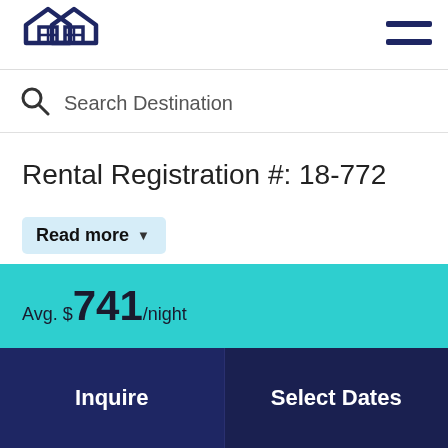[Figure (logo): Two overlapping house outlines in dark navy blue forming a logo]
[Figure (other): Hamburger menu icon with two horizontal dark navy lines]
[Figure (other): Search magnifying glass icon]
Search Destination
Rental Registration #: 18-772
Read more
Avg. $741/night
Inquire
Select Dates